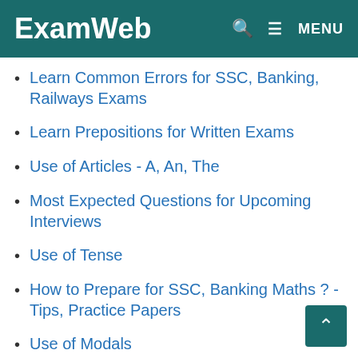ExamWeb  🔍  ≡ MENU
Learn Common Errors for SSC, Banking, Railways Exams
Learn Prepositions for Written Exams
Use of Articles - A, An, The
Most Expected Questions for Upcoming Interviews
Use of Tense
How to Prepare for SSC, Banking Maths ? - Tips, Practice Papers
Use of Modals
Active and Passive Voice
Use of Non-Finite